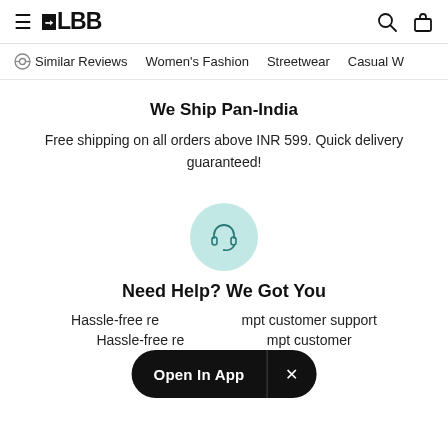LBB
Similar Reviews   Women's Fashion   Streetwear   Casual W
We Ship Pan-India
Free shipping on all orders above INR 599. Quick delivery guaranteed!
[Figure (illustration): Headset/customer support icon inside a teal/mint circular background]
Need Help? We Got You
Hassle-free returns and prompt customer support
Open In App  ×